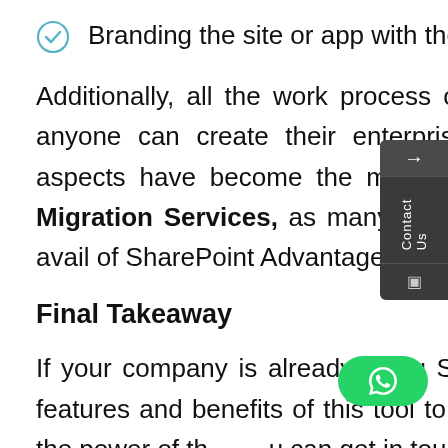Branding the site or app with the company's logo.
Additionally, all the work process of SharePoint is almost code-free. Thus anyone can create their enterprise with ready-to-use plug-ins. All such aspects have become the main reason for the popularity of SharePoint Migration Services, as many companies are outsourcing such services to avail of SharePoint Advantages.
Final Takeaway
If your company is already using SharePoint, ensure that you know all the features and benefits of this tool to use it. But if you still haven't recognized the power of this, you can get in touch with companies knowing SharePoint Document Management Solutions in Mumbai Based...